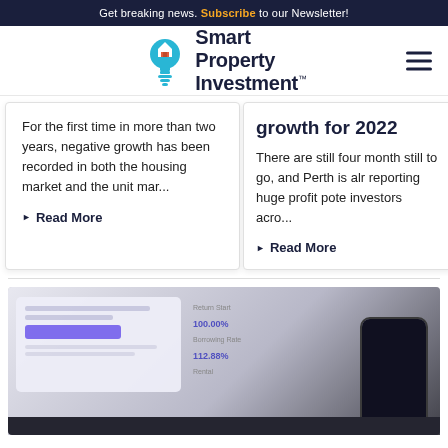Get breaking news. Subscribe to our Newsletter!
[Figure (logo): Smart Property Investment logo with lightbulb icon]
For the first time in more than two years, negative growth has been recorded in both the housing market and the unit mar...
▶ Read More
growth for 2022
There are still four month still to go, and Perth is alr reporting huge profit pote investors acro...
▶ Read More
[Figure (screenshot): Blurred screenshot of a property investment dashboard/app shown on a tablet with a phone in the foreground]